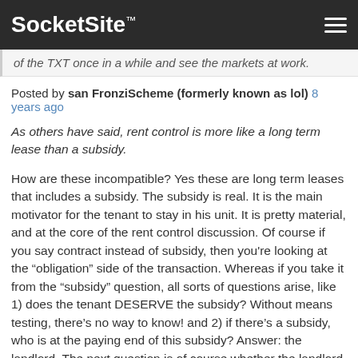SocketSite™
of the TXT once in a while and see the markets at work.
Posted by san FronziScheme (formerly known as lol) 8 years ago
As others have said, rent control is more like a long term lease than a subsidy.
How are these incompatible? Yes these are long term leases that includes a subsidy. The subsidy is real. It is the main motivator for the tenant to stay in his unit. It is pretty material, and at the core of the rent control discussion. Of course if you say contract instead of subsidy, then you're looking at the "obligation" side of the transaction. Whereas if you take it from the "subsidy" question, all sorts of questions arise, like 1) does the tenant DESERVE the subsidy? Without means testing, there's no way to know! and 2) if there's a subsidy, who is at the paying end of this subsidy? Answer: the landlord. The next question is of course whether the landlord should be the right person to pay such subsidy. Short answer: there's no valid reason he should.
Minimizing the "subsidy" side of rent control is a good way to get rid of some very annoying questions. None, not letting this